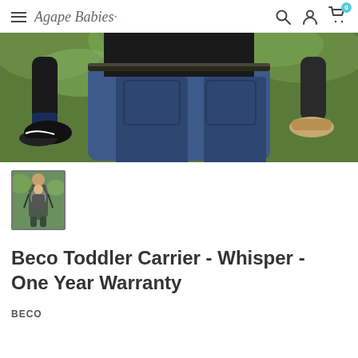Agape Babies — navigation bar with hamburger menu, search, account, and cart icons
[Figure (photo): Close-up photo of an adult carrying a child on their back. The adult is wearing jeans and a dark shirt; the child's legs and sneakers are visible on either side of the adult's hips. Green leafy background.]
[Figure (photo): Thumbnail image of a man carrying a baby in a Beco Toddler Carrier, outdoors.]
Beco Toddler Carrier - Whisper - One Year Warranty
BECO